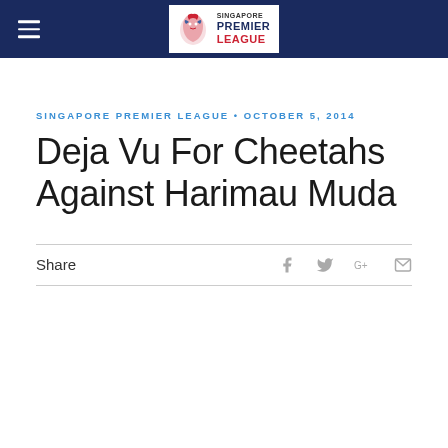Singapore Premier League
SINGAPORE PREMIER LEAGUE • OCTOBER 5, 2014
Deja Vu For Cheetahs Against Harimau Muda
Share